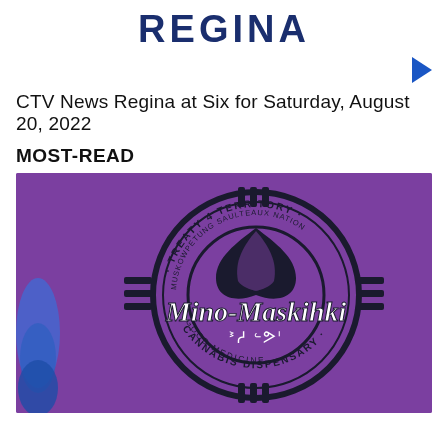REGINA
CTV News Regina at Six for Saturday, August 20, 2022
MOST-READ
[Figure (photo): Purple background with the Mino-Maskihki Good Medicine Cannabis Dispensary logo — a circular badge reading 'TREATY 4 TERRITORY · MUSKOWPETUNG SAULTEAUX NATION' around stylized leaf/feather graphic, with 'Mino-Maskihki' in large script, syllabics text below, and 'GOOD MEDICINE · CANNABIS DISPENSARY' around the bottom. A blue glass object partially visible on the left edge.]